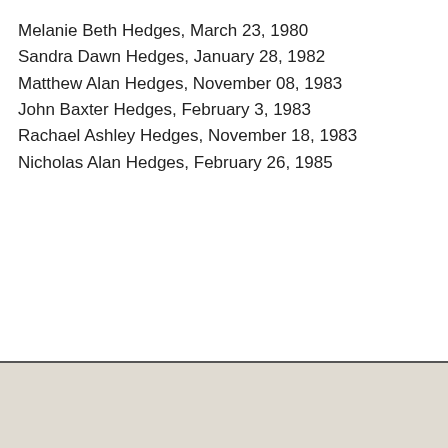Melanie Beth Hedges, March 23, 1980
Sandra Dawn Hedges, January 28, 1982
Matthew Alan Hedges, November 08, 1983
John Baxter Hedges, February 3, 1983
Rachael Ashley Hedges, November 18, 1983
Nicholas Alan Hedges, February 26, 1985